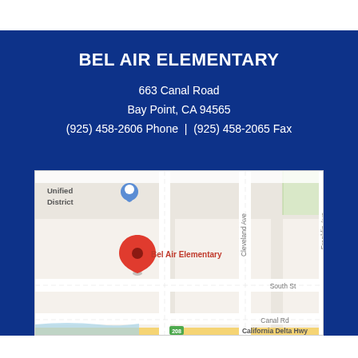BEL AIR ELEMENTARY
663 Canal Road
Bay Point, CA 94565
(925) 458-2606 Phone | (925) 458-2065 Fax
[Figure (map): Google Maps screenshot showing the location of Bel Air Elementary at 663 Canal Road, Bay Point, CA. A red pin marker is placed at the school location. Nearby streets visible include Cleveland Ave, Franklin Ave, South St, Canal Rd, and California Delta Hwy (208). 'Unified District' label with a map pin icon is visible in the upper left.]